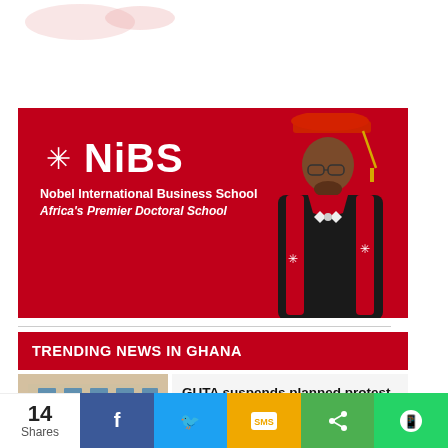[Figure (photo): Partial view of top of page with faint image visible]
[Figure (advertisement): NiBS Nobel International Business School - Africa's Premier Doctoral School banner ad with person in academic regalia]
TRENDING NEWS IN GHANA
[Figure (photo): Crowd of people outside a building]
GUTA suspends planned protest to lock shops
Business News
14 Shares